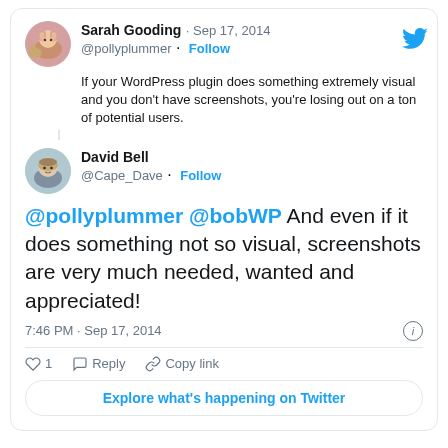[Figure (screenshot): Embedded tweet card showing two Twitter users. Sarah Gooding (@pollyplummer, Sep 17, 2014) tweets: 'If your WordPress plugin does something extremely visual and you don't have screenshots, you're losing out on a ton of potential users.' Then David Bell (@Cape_Dave) replies: '@pollyplummer @bobWP And even if it does something not so visual, screenshots are very much needed, wanted and appreciated!' at 7:46 PM Sep 17, 2014. Includes like (1), reply, copy link actions and an 'Explore what's happening on Twitter' button.]
For a simple plugin, with no dedicated website, having screenshots could be the difference between